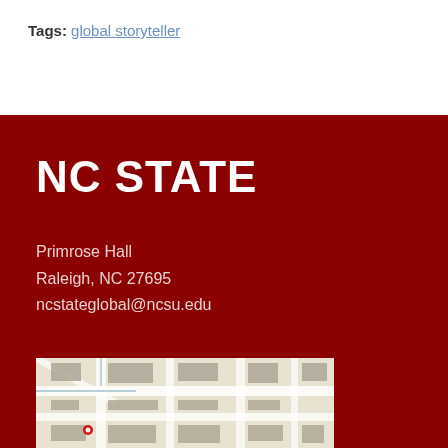Tags: global storyteller
NC STATE
Primrose Hall
Raleigh, NC 27695
ncstateglobal@ncsu.edu
[Figure (map): Campus map showing NC State University area with streets and buildings]